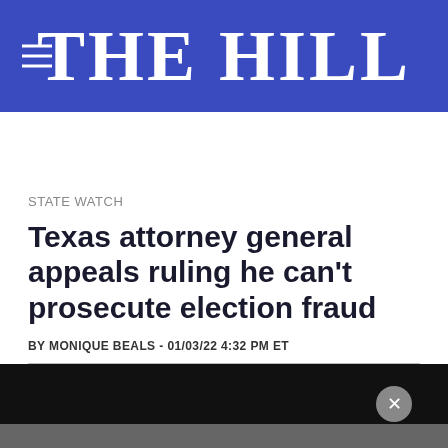THE HILL
STATE WATCH
Texas attorney general appeals ruling he can't prosecute election fraud
BY MONIQUE BEALS - 01/03/22 4:32 PM ET
[Figure (screenshot): Black and dark gray media player or advertisement area with a gray close/dismiss button (×) in the upper right area]